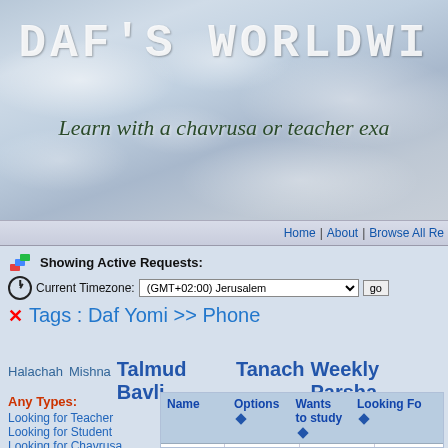[Figure (screenshot): Website banner with cloudy sky background showing 'DAF'S WORLDWI...' title in dot-matrix style font and subtitle 'Learn with a chavrusa or teacher exa...']
Home | About | Browse All Re...
Showing Active Requests:
Current Timezone: (GMT+02:00) Jerusalem  go
✕ Tags : Daf Yomi >> Phone
Halachah   Mishna   Talmud Bavli   Tanach   Weekly Parsha
Any Types:
Looking for Teacher
Looking for Student
Looking for Chavrusa
Any Method
In Person
| Name | Options | Wants to study | Looking Fo... |
| --- | --- | --- | --- |
| Aryeh
Age: 25 | Online/ Phone | Weekly Parsha
Daf Yomi | Teacher or
Chavrusa |